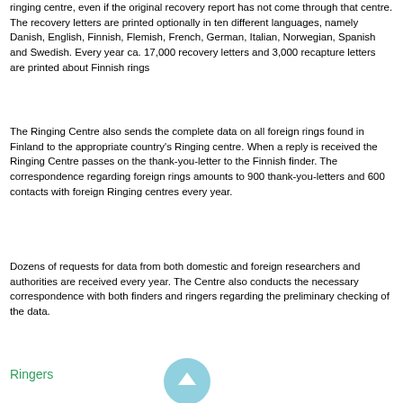ringing centre, even if the original recovery report has not come through that centre. The recovery letters are printed optionally in ten different languages, namely Danish, English, Finnish, Flemish, French, German, Italian, Norwegian, Spanish and Swedish. Every year ca. 17,000 recovery letters and 3,000 recapture letters are printed about Finnish rings
The Ringing Centre also sends the complete data on all foreign rings found in Finland to the appropriate country's Ringing centre. When a reply is received the Ringing Centre passes on the thank-you-letter to the Finnish finder. The correspondence regarding foreign rings amounts to 900 thank-you-letters and 600 contacts with foreign Ringing centres every year.
Dozens of requests for data from both domestic and foreign researchers and authorities are received every year. The Centre also conducts the necessary correspondence with both finders and ringers regarding the preliminary checking of the data.
Ringers